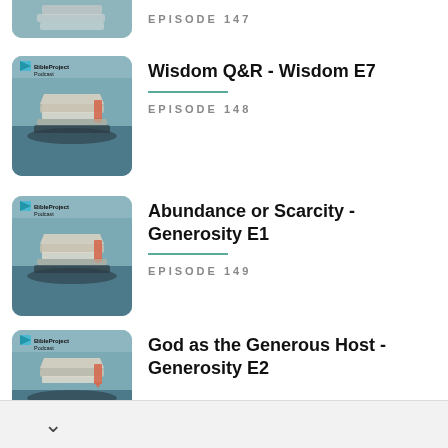EPISODE 147
[Figure (illustration): BibleProject Podcast thumbnail showing exploded layered book illustration on teal/blue background]
Wisdom Q&R - Wisdom E7
EPISODE 148
[Figure (illustration): BibleProject Podcast thumbnail showing exploded layered book illustration on teal/blue background]
Abundance or Scarcity - Generosity E1
EPISODE 149
[Figure (illustration): BibleProject Podcast thumbnail showing exploded layered book illustration on teal/blue background]
God as the Generous Host - Generosity E2